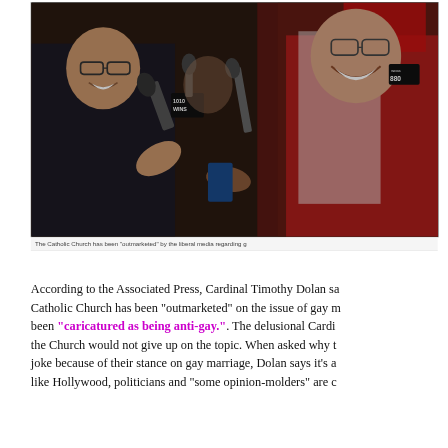[Figure (photo): Cardinal in red robes laughing surrounded by reporters holding microphones from 1010 WINS and WCBS 880 radio stations, with a man in glasses smiling to the left]
The Catholic Church has been "outmarketed" by the liberal media regarding g
According to the Associated Press, Cardinal Timothy Dolan sa Catholic Church has been “outmarketed” on the issue of gay m been “caricatured as being anti-gay.”. The delusional Cardi the Church would not give up on the topic. When asked why t joke because of their stance on gay marriage, Dolan says it’s a like Hollywood, politicians and “some opinion-molders” are c